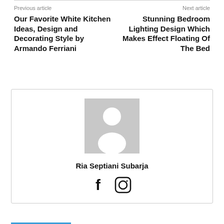Previous article
Next article
Our Favorite White Kitchen Ideas, Design and Decorating Style by Armando Ferriani
Stunning Bedroom Lighting Design Which Makes Effect Floating Of The Bed
[Figure (illustration): Placeholder avatar image showing a grey silhouette of a person]
Ria Septiani Subarja
[Figure (other): Social media icons: Facebook (f) and Instagram (circle with square)]